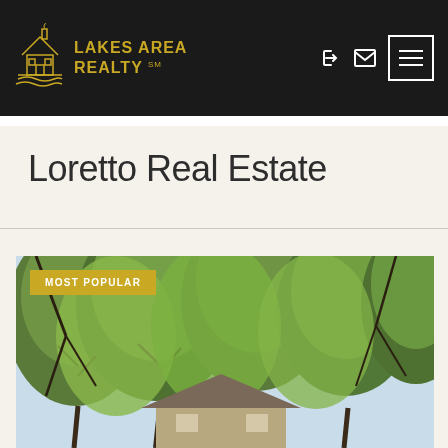[Figure (logo): Lakes Area Realty logo with gold house/lake illustration and gold text on black background header]
Loretto Real Estate
[Figure (photo): Property photo showing a house partially visible through large green leafy trees with blue sky, labeled MOST POPULAR]